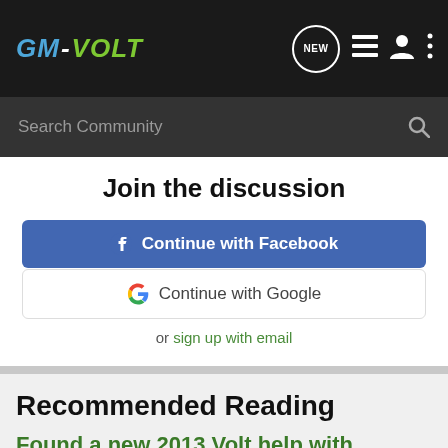GM-VOLT
Search Community
Join the discussion
Continue with Facebook
Continue with Google
or sign up with email
Recommended Reading
Found a new 2013 Volt help with pricing
? Buying, Selling, Tax Credit, Fees - Chevy Volt